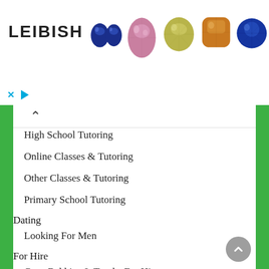[Figure (advertisement): Leibish jewelry advertisement banner showing colorful gemstones: two blue sapphire ovals, one pink diamond oval, one yellow-green round diamond, one orange cushion diamond, and one blue round sapphire. The Leibish logo text appears on the left.]
High School Tutoring
Online Classes & Tutoring
Other Classes & Tutoring
Primary School Tutoring
Dating
Looking For Men
For Hire
Cars, Bakkies & Trucks For Hire
Other Stuff for Hire
For Sale
Automotive vehicles for sale